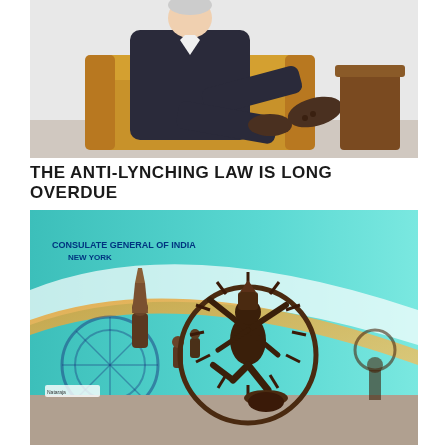[Figure (illustration): Cartoon illustration showing a person in a dark suit seated on a yellow/orange couch with legs crossed and feet up, next to a brown table or pedestal. The image is cropped at the top.]
THE ANTI-LYNCHING LAW IS LONG OVERDUE
[Figure (photo): Photograph of bronze Indian statues displayed on a table at the Consulate General of India, New York. The central statue is a large Nataraja (dancing Shiva) with a ring of flames, flanked by smaller bronze figurines. The background shows a teal/turquoise graphic backdrop with the Consulate General of India New York logo and Ashoka Chakra symbol.]